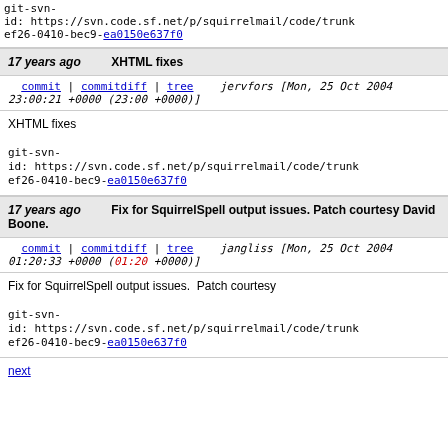git-svn-id: https://svn.code.sf.net/p/squirrelmail/code/trunk ef26-0410-bec9-ea0150e637f0
17 years ago   XHTML fixes
commit | commitdiff | tree jervfors [Mon, 25 Oct 2004 23:00:21 +0000 (23:00 +0000)]
XHTML fixes

git-svn-id: https://svn.code.sf.net/p/squirrelmail/code/trunk ef26-0410-bec9-ea0150e637f0
17 years ago   Fix for SquirrelSpell output issues. Patch courtesy David Boone.
commit | commitdiff | tree jangliss [Mon, 25 Oct 2004 01:20:33 +0000 (01:20 +0000)]
Fix for SquirrelSpell output issues.  Patch courtesy

git-svn-id: https://svn.code.sf.net/p/squirrelmail/code/trunk ef26-0410-bec9-ea0150e637f0
next